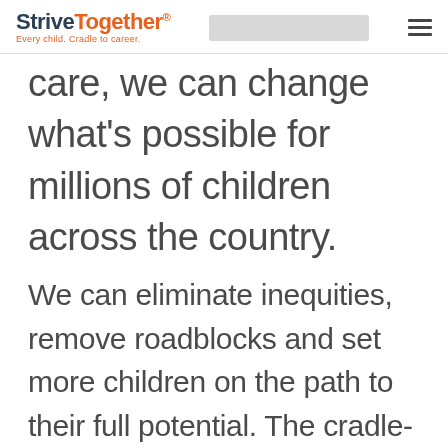StriveTogether® — Every child. Cradle to career.
care, we can change what's possible for millions of children across the country.
We can eliminate inequities, remove roadblocks and set more children on the path to their full potential. The cradle-to-career movement will have an impact felt across the nation. Together, we can change what's possible so that every child has every chance to succeed.